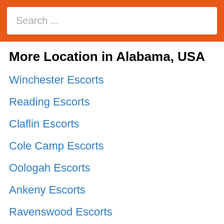[Figure (screenshot): Search bar with orange background and white input field showing placeholder text 'Search ...']
More Location in Alabama, USA
Winchester Escorts
Reading Escorts
Claflin Escorts
Cole Camp Escorts
Oologah Escorts
Ankeny Escorts
Ravenswood Escorts